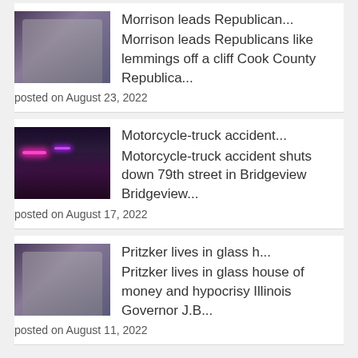[Figure (photo): Two people posing together, political context]
Morrison leads Republican...
Morrison leads Republicans like lemmings off a cliff Cook County Republica...
posted on August 23, 2022
[Figure (photo): Nighttime scene of motorcycle-truck accident with colored lights]
Motorcycle-truck accident...
Motorcycle-truck accident shuts down 79th street in Bridgeview Bridgeview...
posted on August 17, 2022
[Figure (photo): Two people posing together, political context]
Pritzker lives in glass h...
Pritzker lives in glass house of money and hypocrisy Illinois Governor J.B...
posted on August 11, 2022